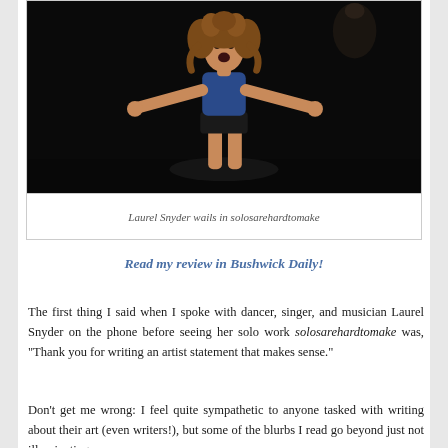[Figure (photo): A performer (Laurel Snyder) on a dark stage, wearing a blue top and black shorts, arms outstretched and mouth open as if wailing or singing, with curly hair and a lamp visible in the background.]
Laurel Snyder wails in solosarehardtomake
Read my review in Bushwick Daily!
The first thing I said when I spoke with dancer, singer, and musician Laurel Snyder on the phone before seeing her solo work solosarehardtomake was, "Thank you for writing an artist statement that makes sense."
Don't get me wrong: I feel quite sympathetic to anyone tasked with writing about their art (even writers!), but some of the blurbs I read go beyond just not illuminating